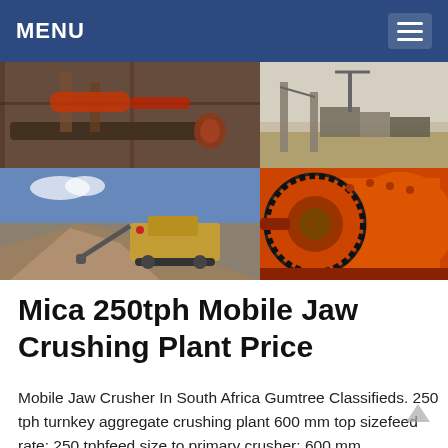MENU
[Figure (photo): Four-panel photo grid showing industrial crushing and milling equipment: top-left shows indoor conveyor/mill equipment, top-right shows outdoor quarry/crushing plant with conveyors, bottom-left shows mobile jaw crushing plant at an outdoor site with aggregate piles, bottom-right shows large orange ball mill drum with gears.]
Mica 250tph Mobile Jaw Crushing Plant Price
Mobile Jaw Crusher In South Africa Gumtree Classifieds. 250 tph turnkey aggregate crushing plant 600 mm top sizefeed rate: 250 tphfeed size to primary crusher: 600 mm